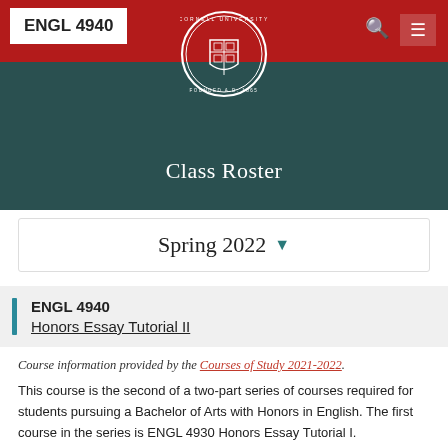ENGL 4940
[Figure (logo): Cornell University seal/logo in white, circular with shield and text 'CORNELL UNIVERSITY FOUNDED A.D. 1865']
Class Roster
Spring 2022
ENGL 4940
Honors Essay Tutorial II
Course information provided by the Courses of Study 2021-2022.
This course is the second of a two-part series of courses required for students pursuing a Bachelor of Arts with Honors in English. The first course in the series is ENGL 4930 Honors Essay Tutorial I.
When Offered: Fall, Spring.
Prerequisites/Corequisites: Prerequisite: ENGL 4930.